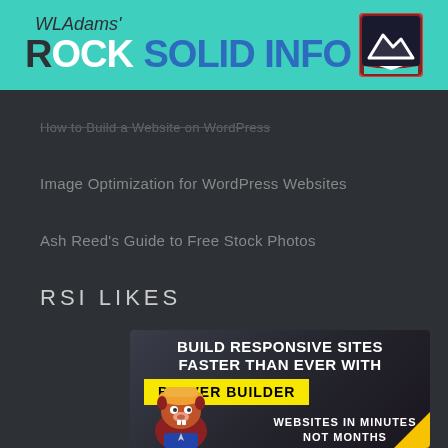WLAdams' Rock Solid Info
How to Build a Website on WordPress
Image Optimization for WordPress Websites
Ash Reed's Guide to Free Stock Photos
RSI LIKES
[Figure (infographic): Beaver Builder promotional banner: BUILD RESPONSIVE SITES FASTER THAN EVER WITH BEAVER BUILDER. WEBSITES IN MINUTES NOT MONTHS. Features a beaver mascot character and a yellow corner accent.]